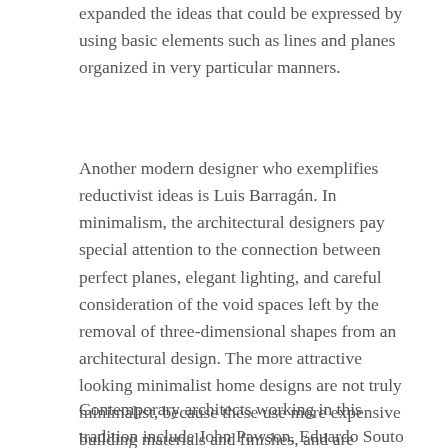expanded the ideas that could be expressed by using basic elements such as lines and planes organized in very particular manners.
Another modern designer who exemplifies reductivist ideas is Luis Barragán. In minimalism, the architectural designers pay special attention to the connection between perfect planes, elegant lighting, and careful consideration of the void spaces left by the removal of three-dimensional shapes from an architectural design. The more attractive looking minimalist home designs are not truly minimalist, because these use more expensive building materials and finishes, and are relatively larger.
Contemporary architects working in this tradition include John Pawson, Eduardo Souto de Moura, Álvaro Siza Vieira, Tadao Ando, Alberto Campo Baeza, Yoshio Taniguchi,